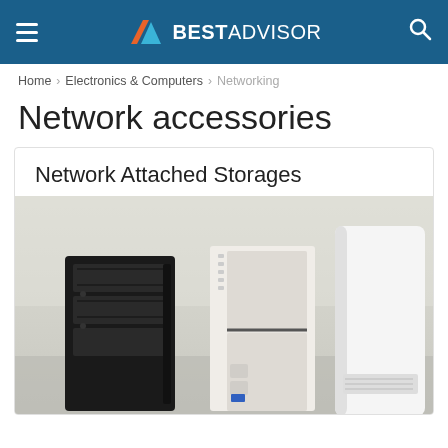BESTADVISOR
Home > Electronics & Computers > Networking
Network accessories
Network Attached Storages
[Figure (photo): Photo of three NAS (Network Attached Storage) devices side by side: a black multi-bay unit on the left, a white 2-bay unit in the center, and a tall white cylindrical/rectangular unit on the right.]